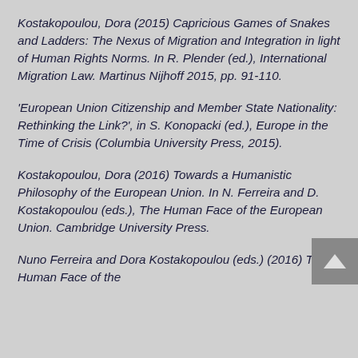Kostakopoulou, Dora (2015) Capricious Games of Snakes and Ladders: The Nexus of Migration and Integration in light of Human Rights Norms. In R. Plender (ed.), International Migration Law. Martinus Nijhoff 2015, pp. 91-110.
'European Union Citizenship and Member State Nationality: Rethinking the Link?', in S. Konopacki (ed.), Europe in the Time of Crisis (Columbia University Press, 2015).
Kostakopoulou, Dora (2016) Towards a Humanistic Philosophy of the European Union. In N. Ferreira and D. Kostakopoulou (eds.), The Human Face of the European Union. Cambridge University Press.
Nuno Ferreira and Dora Kostakopoulou (eds.) (2016) The Human Face of the